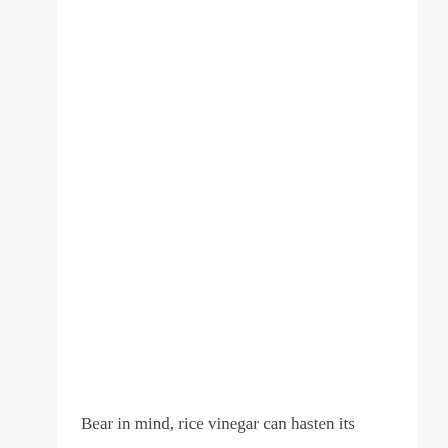Bear in mind, rice vinegar can hasten its